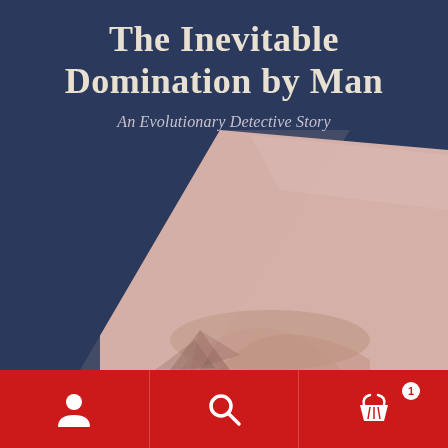The Inevitable Domination by Man
An Evolutionary Detective Story
[Figure (photo): Close-up photograph of a human hand or fist pressing against a pinkish-beige textured surface, with shadows visible, set against a dark navy blue background]
[Figure (infographic): Red navigation bar with three white icons: person/user icon, search/magnifying glass icon, and shopping basket/cart icon with a badge showing '1']